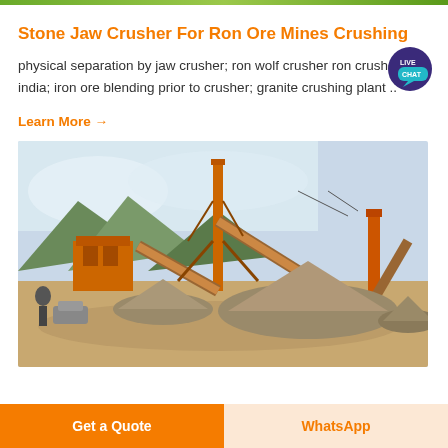[Figure (photo): Top strip showing partial outdoor image — green/natural scene at top of page]
Stone Jaw Crusher For Ron Ore Mines Crushing
physical separation by jaw crusher; ron wolf crusher ron crusher india; iron ore blending prior to crusher; granite crushing plant ..
Learn More →
[Figure (photo): Outdoor photograph of a stone crushing plant with conveyor belts, orange steel structure, piles of crushed stone/gravel, mountains in background, overcast sky]
Get a Quote
WhatsApp